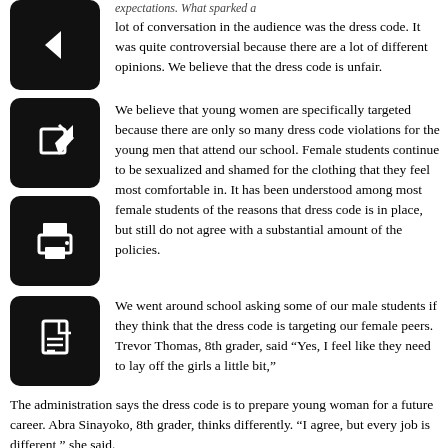expectations. What sparked a lot of conversation in the audience was the dress code. It was quite controversial because there are a lot of different opinions. We believe that the dress code is unfair.
[Figure (illustration): Back arrow icon button (black rounded square)]
[Figure (illustration): Edit/pencil icon button (black rounded square)]
We believe that young women are specifically targeted because there are only so many dress code violations for the young men that attend our school. Female students continue to be sexualized and shamed for the clothing that they feel most comfortable in. It has been understood among most female students of the reasons that dress code is in place, but still do not agree with a substantial amount of the policies.
[Figure (illustration): Print icon button (black rounded square)]
[Figure (illustration): PDF/document icon button (black rounded square)]
We went around school asking some of our male students if they think that the dress code is targeting our female peers. Trevor Thomas, 8th grader, said “Yes, I feel like they need to lay off the girls a little bit,”
The administration says the dress code is to prepare young woman for a future career. Abra Sinayoko, 8th grader, thinks differently. “I agree, but every job is different,” she said.
Jade Munson, 8th grader,  agrees completely. “You can’t show up to work in a crop top and short shorts,” she said.
Mrs. Cerulli agrees with most students to some extent. She said “I don’t feel like the girls are targeted, I just feel like the clothes can be more exposing.” She feels like teacher dress code isn’t more lenient than student dress code. “I think they should maybe look at some of the expectations.”